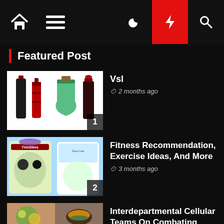Navigation bar with home, menu, dark mode, lightning, search icons
Featured Post
Vsl — 2 months ago
Fitness Recommendation, Exercise Ideas, And More — 3 months ago
Interdepartmental Cellular Teams On Combating Drugs Created In... — 4 months ago
Technical Difficulties — 7 months ago